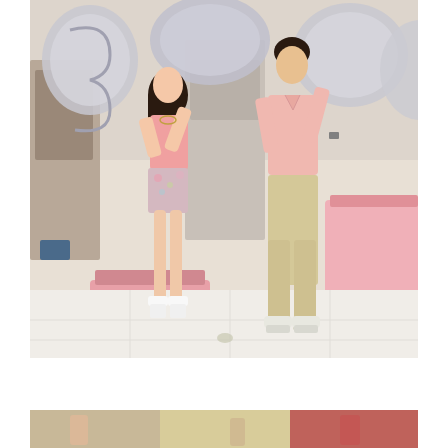[Figure (photo): Two young people standing in what appears to be a cosmetics/beauty store, each holding large silver metallic number balloons. The woman on the left wears a pink top and floral shorts with white platform sandals. The man on the right wears a pink button-down shirt and khaki pants with white sneakers. The background shows a brightly lit department store beauty section with pink displays. The floor is white tile.]
[Figure (photo): Partial view of another photo showing people in what appears to be a similar indoor shopping setting, partially cropped at the bottom of the page.]